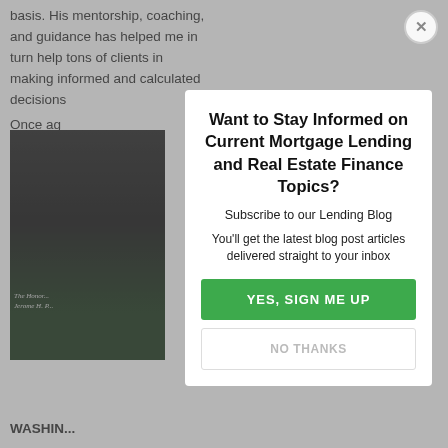basis. His mentorship, coaching, and guidance has helped me in turn help tons of clients in making informed and calculated decisions
Once ag... that's ea...
[Figure (photo): Dark photo of a person, with green background at bottom, text reading 'The Honorable Jerome H. P...']
WASHIN...
Want to Stay Informed on Current Mortgage Lending and Real Estate Finance Topics?
Subscribe to our Lending Blog
You'll get the latest blog post articles delivered straight to your inbox